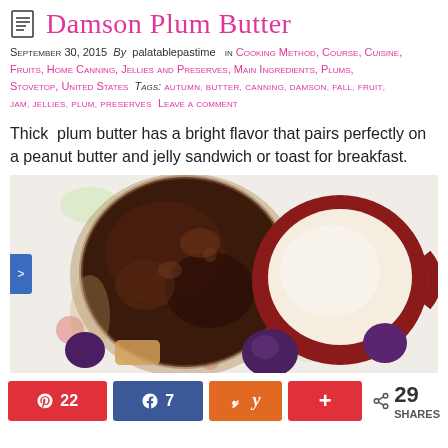Damson Plum Butter
September 30, 2015  By  palatablepastime   in Cooking Method, Course, Cuisine, Fruits, Home Canning, Jellies and Preserves, Main Ingredients, Plums, Stovetop, United States  Tags: autumn, butter, canning, damson, fall, fruit, jam, jellies, plum, preserves  Leave a comment
Thick  plum butter has a bright flavor that pairs perfectly on a peanut butter and jelly sandwich or toast for breakfast.
[Figure (photo): Overhead view of an open jar of dark damson plum butter beside a red mug filled with light-colored beverage, on a floral tablecloth with fresh damson plums around them.]
Pinterest 22  Facebook 7  Yummly  +  < 29 SHARES